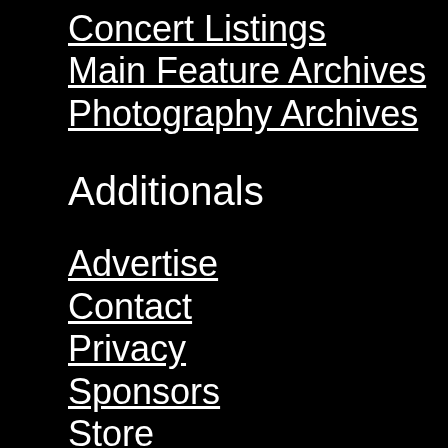Concert Listings
Main Feature Archives
Photography Archives
Additionals
Advertise
Contact
Privacy
Sponsors
Store
Terms
Follow Us
Blog